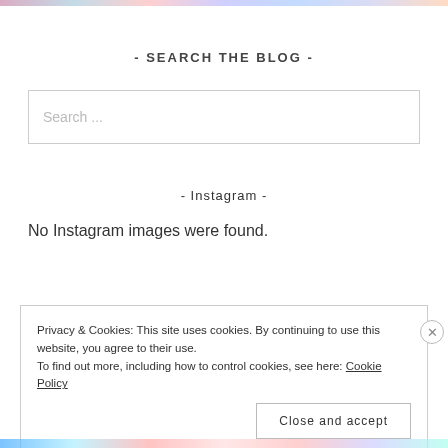- SEARCH THE BLOG -
[Figure (screenshot): Search input box with placeholder text 'Search ...']
- Instagram -
No Instagram images were found.
Privacy & Cookies: This site uses cookies. By continuing to use this website, you agree to their use.
To find out more, including how to control cookies, see here: Cookie Policy
Close and accept